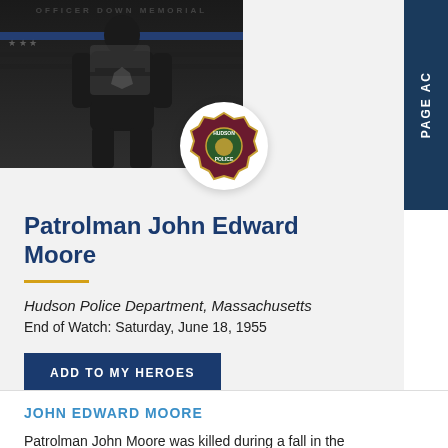[Figure (photo): Officer Down Memorial Page profile photo placeholder with thin blue line flag silhouette and ODMP watermark, with Hudson Police Department badge overlaid in a white circle]
Patrolman John Edward Moore
Hudson Police Department, Massachusetts
End of Watch: Saturday, June 18, 1955
ADD TO MY HEROES
JOHN EDWARD MOORE
Patrolman John Moore was killed during a fall in the